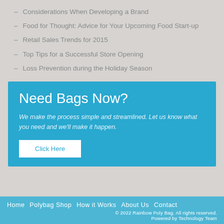Considerations When Developing a Brand
Food for Thought: Advice for Your Upcoming Food Start-up
Retail Sales Trends for 2015
Top Tips for a Successful Store Opening
Loss Prevention during the Holiday Season
Need Bags Now?
We make the process simple and streamlined. Let us know what you need and we'll make it happen.
Click Here
Home  Polybag Shop  How it Works  About Us  Contact
© 2022 Rainbow Poly Bag. All rights reserved.
Powered by Technology Team